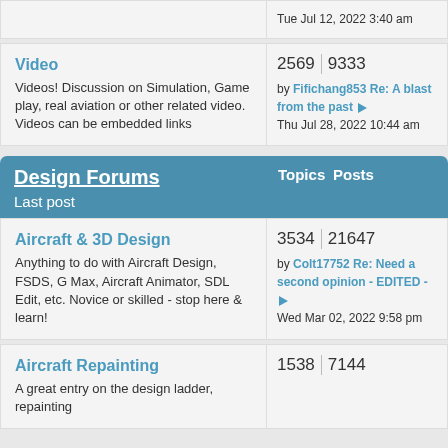Tue Jul 12, 2022 3:40 am
Video
Videos! Discussion on Simulation, Game play, real aviation or other related video. Videos can be embedded links
2569  9333
by Fifichang853 Re: A blast from the past Thu Jul 28, 2022 10:44 am
Design Forums  Topics Posts  Last post
Aircraft & 3D Design
Anything to do with Aircraft Design, FSDS, G Max, Aircraft Animator, SDL Edit, etc. Novice or skilled - stop here & learn!
3534  21647
by Colt17752 Re: Need a second opinion - EDITED - Wed Mar 02, 2022 9:58 pm
Aircraft Repainting
A great entry on the design ladder, repainting
1538  7144